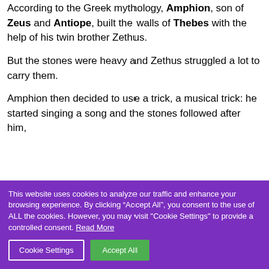According to the Greek mythology, Amphion, son of Zeus and Antiope, built the walls of Thebes with the help of his twin brother Zethus.
But the stones were heavy and Zethus struggled a lot to carry them.
Amphion then decided to use a trick, a musical trick: he started singing a song and the stones followed after him,
This website uses cookies to analyze our traffic and enhance your browsing experience. By clicking “Accept All”, you consent to the use of ALL the cookies. However, you may visit "Cookie Settings" to provide a controlled consent. Read More